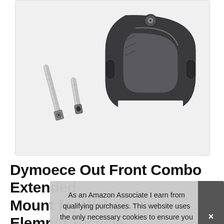[Figure (photo): Product photo of a black aluminum bicycle out-front mount bracket with two silver screws/bolts, on a light grey background.]
Dymoece Out Front Combo Extended Mount for Wahoo Elemnt Bicycle Mo... Mi... Ca...
As an Amazon Associate I earn from qualifying purchases. This website uses the only necessary cookies to ensure you get the best experience on our website. More information